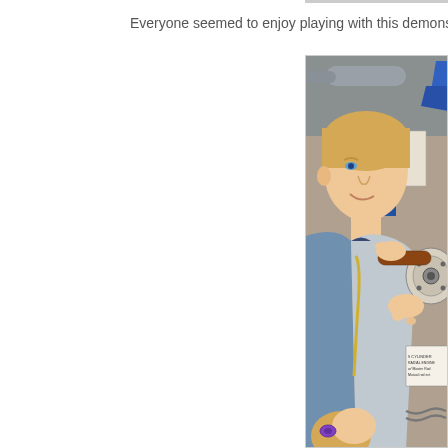Everyone seemed to enjoy playing with this demonstration of how a
[Figure (photo): A young boy with blonde hair smiles while interacting with a mechanical propeller or engine demonstration at what appears to be an aviation museum. A sign reading 'AT-6 TEXAN' is visible in the background. The child is holding a wooden handle and touching the mechanism. Another child with a purple hair tie is partially visible in the foreground.]